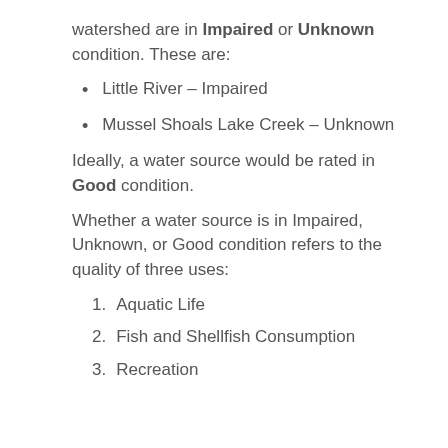watershed are in Impaired or Unknown condition. These are:
Little River – Impaired
Mussel Shoals Lake Creek – Unknown
Ideally, a water source would be rated in Good condition.
Whether a water source is in Impaired, Unknown, or Good condition refers to the quality of three uses:
1. Aquatic Life
2. Fish and Shellfish Consumption
3. Recreation